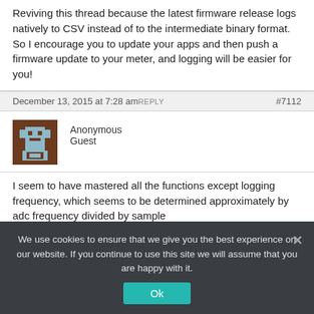Reviving this thread because the latest firmware release logs natively to CSV instead of to the intermediate binary format. So I encourage you to update your apps and then push a firmware update to your meter, and logging will be easier for you!
December 13, 2015 at 7:28 am REPLY  #7112
Anonymous
Guest
I seem to have mastered all the functions except logging frequency, which seems to be determined approximately by adc frequency divided by sample
We use cookies to ensure that we give you the best experience on our website. If you continue to use this site we will assume that you are happy with it.